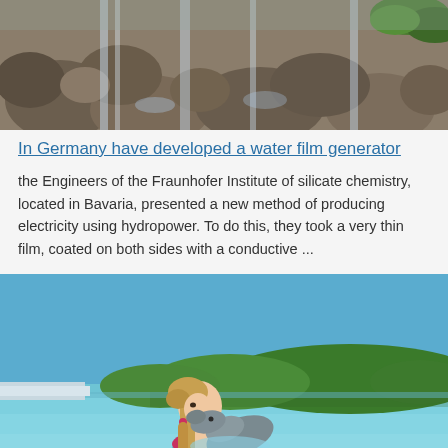[Figure (photo): Waterfall flowing over rocks and stones with green moss/vegetation]
In Germany have developed a water film generator
the Engineers of the Fraunhofer Institute of silicate chemistry, located in Bavaria, presented a new method of producing electricity using hydropower. To do this, they took a very thin film, coated on both sides with a conductive ...
[Figure (photo): A young girl with a ponytail kissing a dolphin in turquoise water with green tropical trees in the background]